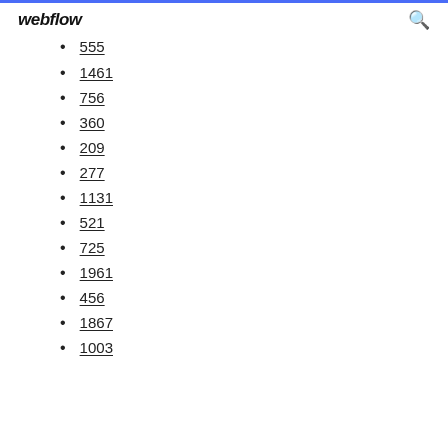webflow
555
1461
756
360
209
277
1131
521
725
1961
456
1867
1003